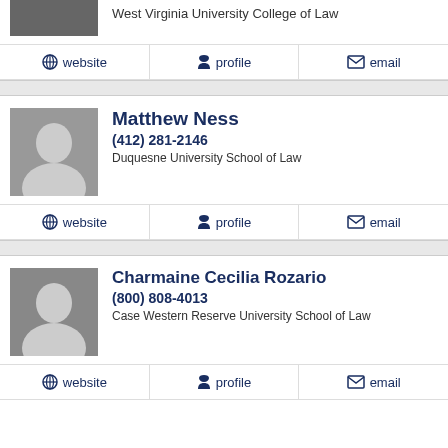West Virginia University College of Law
website | profile | email
Matthew Ness
(412) 281-2146
Duquesne University School of Law
website | profile | email
Charmaine Cecilia Rozario
(800) 808-4013
Case Western Reserve University School of Law
website | profile | email